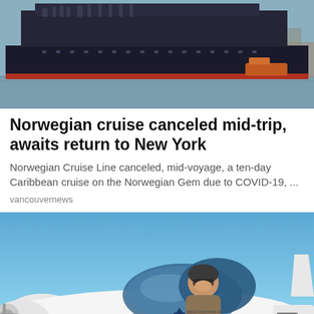[Figure (photo): A large dark-hulled cruise ship on water, viewed from the side, with a red stripe along the waterline and port/harbor structures visible in background.]
Norwegian cruise canceled mid-trip, awaits return to New York
Norwegian Cruise Line canceled, mid-voyage, a ten-day Caribbean cruise on the Norwegian Gem due to COVID-19, ...
vancouvernews
[Figure (photo): A person (pilot) sitting in the cockpit of a small white aircraft branded with TMC, ICDSOFT web hosting, and Virgin logos, against a blue sky background.]